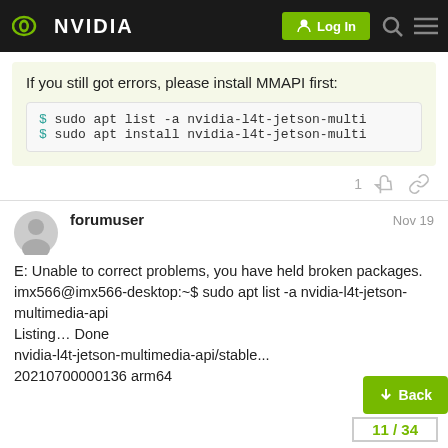NVIDIA — Log In
If you still got errors, please install MMAPI first:
$ sudo apt list -a nvidia-l4t-jetson-multi
$ sudo apt install nvidia-l4t-jetson-multi
1 [like] [link]
forumuser   Nov 19
E: Unable to correct problems, you have held broken packages.
imx566@imx566-desktop:~$ sudo apt list -a nvidia-l4t-jetson-multimedia-api
Listing... Done
nvidia-l4t-jetson-multimedia-api/stable...
20210700000136 arm64